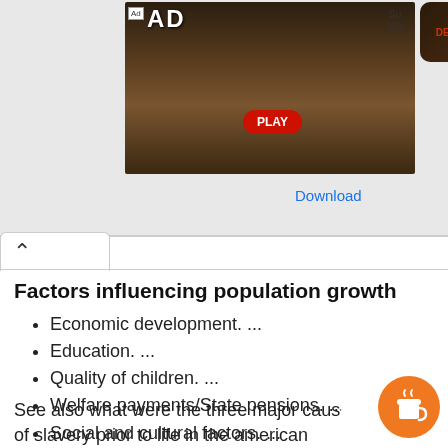[Figure (screenshot): Advertisement banner for a mobile game (The Walking Dead) with a 'PLAY' button and 'Download' link]
Factors influencing population growth
Economic development. ...
Education. ...
Quality of children. ...
Welfare payments/State pensions. ...
Social and cultural factors. ...
Availability of family planning. ...
Female labour market participation. ...
Death rates – Level of medical provision.
See also what were the three major causes of slavery prior to life in the american